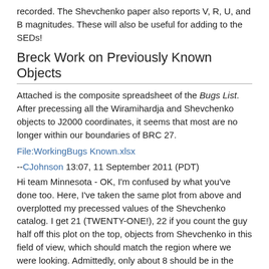recorded. The Shevchenko paper also reports V, R, U, and B magnitudes. These will also be useful for adding to the SEDs!
Breck Work on Previously Known Objects
Attached is the composite spreadsheet of the Bugs List. After precessing all the Wiramihardja and Shevchenko objects to J2000 coordinates, it seems that most are no longer within our boundaries of BRC 27.
File:WorkingBugs Known.xlsx
--CJohnson 13:07, 11 September 2011 (PDT)
Hi team Minnesota - OK, I'm confused by what you've done too. Here, I've taken the same plot from above and overplotted my precessed values of the Shevchenko catalog. I get 21 (TWENTY-ONE!), 22 if you count the guy half off this plot on the top, objects from Shevchenko in this field of view, which should match the region where we were looking. Admittedly, only about 8 should be in the Spitzer maps; I gave you before the boundaries of this plot rather than the boundaries of the Spitzer map because the box is rectangular and the Spitzer map is not. (The three Wiram* sources here are still the same ones I had before; I haven't done this same exercise with those data tables.)
[Figure (continuous-plot): Scatter/overplot chart showing astronomical coordinates. Y-axis starts at -11.2. Legend shows 'our spitzer', 'wiramihardja +', 'shevchenko' with a green circle marker. A small red circle marker is visible near the top center of the plot area.]